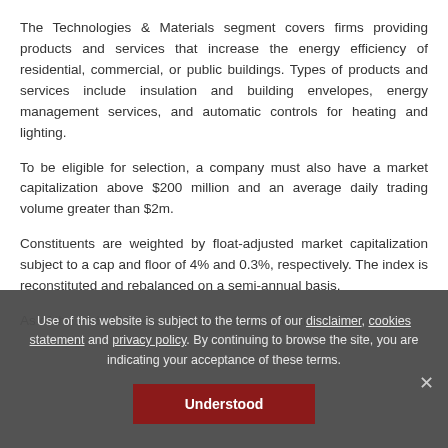The Technologies & Materials segment covers firms providing products and services that increase the energy efficiency of residential, commercial, or public buildings. Types of products and services include insulation and building envelopes, energy management services, and automatic controls for heating and lighting.
To be eligible for selection, a company must also have a market capitalization above $200 million and an average daily trading volume greater than $2m.
Constituents are weighted by float-adjusted market capitalization subject to a cap and floor of 4% and 0.3%, respectively. The index is reconstituted and rebalanced on a semi-annual basis.
As of the end of March, stocks listed in Japan and the US each
Use of this website is subject to the terms of our disclaimer, cookies statement and privacy policy. By continuing to browse the site, you are indicating your acceptance of these terms.